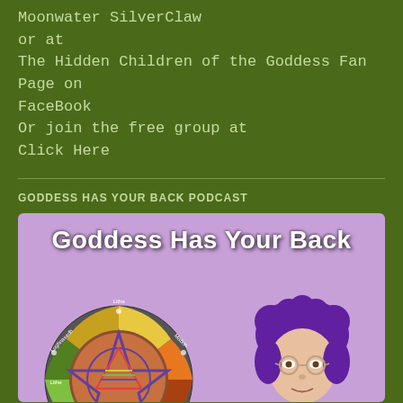Moonwater SilverClaw
or at
The Hidden Children of the Goddess Fan Page on FaceBook
Or join the free group at
Click Here
GODDESS HAS YOUR BACK PODCAST
[Figure (illustration): Podcast cover image with lavender/purple background showing text 'Goddess Has Your Back', a Wiccan wheel of the year on the left side, and a woman with purple hair and glasses on the right side.]